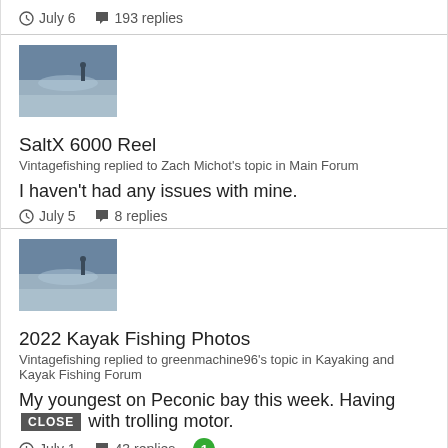July 6   193 replies
[Figure (photo): Thumbnail photo of ocean/beach scene]
SaltX 6000 Reel
Vintagefishing replied to Zach Michot's topic in Main Forum
I haven't had any issues with mine.
July 5   8 replies
[Figure (photo): Thumbnail photo of ocean/beach scene]
2022 Kayak Fishing Photos
Vintagefishing replied to greenmachine96's topic in Kayaking and Kayak Fishing Forum
My youngest on Peconic bay this week. Having [CLOSE] with trolling motor.
July 1   43 replies   1